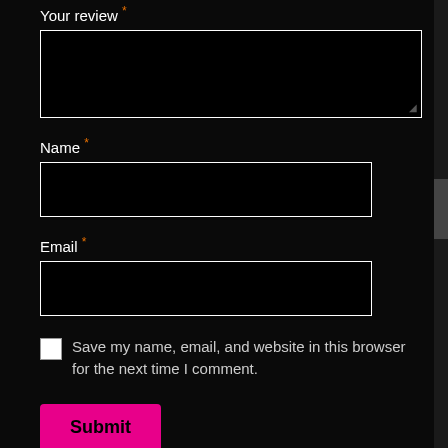Your review *
[Figure (screenshot): Large black textarea input field for review text]
Name *
[Figure (screenshot): Single-line black input field for name]
Email *
[Figure (screenshot): Single-line black input field for email]
Save my name, email, and website in this browser for the next time I comment.
Submit